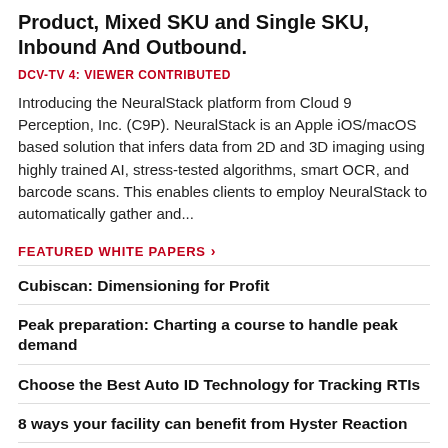Product, Mixed SKU and Single SKU, Inbound And Outbound.
DCV-TV 4: VIEWER CONTRIBUTED
Introducing the NeuralStack platform from Cloud 9 Perception, Inc. (C9P). NeuralStack is an Apple iOS/macOS based solution that infers data from 2D and 3D imaging using highly trained AI, stress-tested algorithms, smart OCR, and barcode scans. This enables clients to employ NeuralStack to automatically gather and...
FEATURED WHITE PAPERS >
Cubiscan: Dimensioning for Profit
Peak preparation: Charting a course to handle peak demand
Choose the Best Auto ID Technology for Tracking RTIs
8 ways your facility can benefit from Hyster Reaction
VIEW MORE